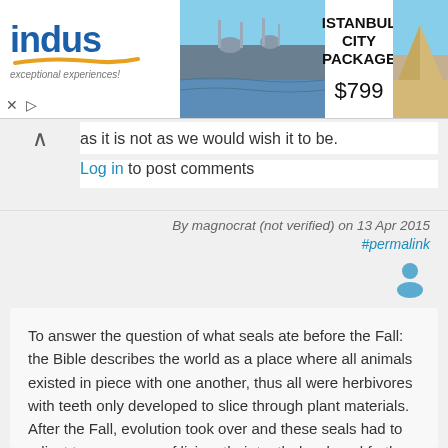[Figure (screenshot): Advertisement banner for Indus travel company showing Istanbul City Package at $799, with photos of Istanbul skyline and pyramids]
as it is not as we would wish it to be.
Log in to post comments
By magnocrat (not verified) on 13 Apr 2015 #permalink
[Figure (illustration): User avatar icon (person silhouette in blue)]
To answer the question of what seals ate before the Fall: the Bible describes the world as a place where all animals existed in piece with one another, thus all were herbivores with teeth only developed to slice through plant materials. After the Fall, evolution took over and these seals had to adjust to a new way of living, their teeth developed further to help them slice and chew